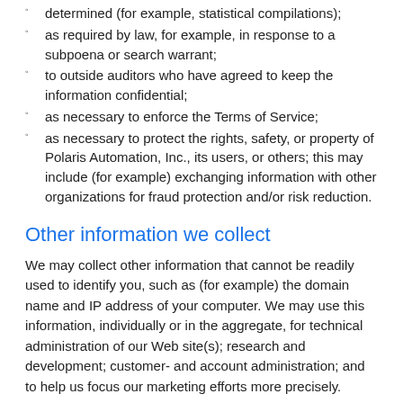determined (for example, statistical compilations);
as required by law, for example, in response to a subpoena or search warrant;
to outside auditors who have agreed to keep the information confidential;
as necessary to enforce the Terms of Service;
as necessary to protect the rights, safety, or property of Polaris Automation, Inc., its users, or others; this may include (for example) exchanging information with other organizations for fraud protection and/or risk reduction.
Other information we collect
We may collect other information that cannot be readily used to identify you, such as (for example) the domain name and IP address of your computer. We may use this information, individually or in the aggregate, for technical administration of our Web site(s); research and development; customer- and account administration; and to help us focus our marketing efforts more precisely.